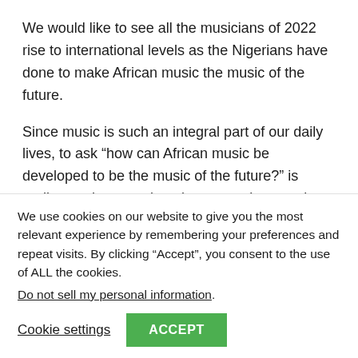We would like to see all the musicians of 2022 rise to international levels as the Nigerians have done to make African music the music of the future.
Since music is such an integral part of our daily lives, to ask “how can African music be developed to be the music of the future?” is really to ask a question about ourselves, and how music will continue to shape how we live. We just have to continue to create and to embrace the music of those who have come before us such as the The Oliver Mtukudzie, the
We use cookies on our website to give you the most relevant experience by remembering your preferences and repeat visits. By clicking “Accept”, you consent to the use of ALL the cookies.
Do not sell my personal information.
Cookie settings
ACCEPT